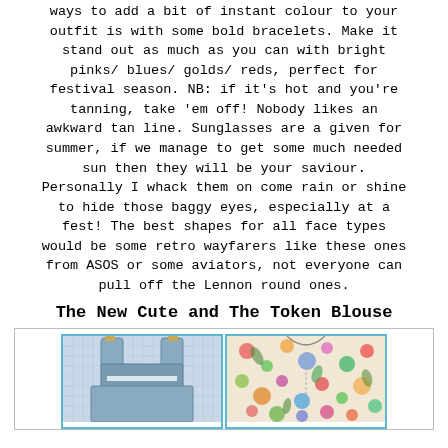ways to add a bit of instant colour to your outfit is with some bold bracelets. Make it stand out as much as you can with bright pinks/ blues/ golds/ reds, perfect for festival season. NB: if it's hot and you're tanning, take 'em off! Nobody likes an awkward tan line. Sunglasses are a given for summer, if we manage to get some much needed sun then they will be your saviour. Personally I whack them on come rain or shine to hide those baggy eyes, especially at a fest! The best shapes for all face types would be some retro wayfarers like these ones from ASOS or some aviators, not everyone can pull off the Lennon round ones.
The New Cute and The Token Blouse
[Figure (photo): Two clothing items side by side: a blue/white patterned dungaree/pinafore on the left and a floral colorful blouse/jacket on the right, both displayed within teal-bordered boxes inside a light gray outer border.]